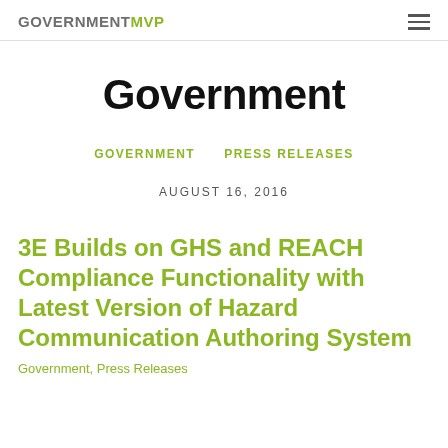GOVERNMENTMVP
Government
GOVERNMENT   PRESS RELEASES
AUGUST 16, 2016
3E Builds on GHS and REACH Compliance Functionality with Latest Version of Hazard Communication Authoring System
Government, Press Releases